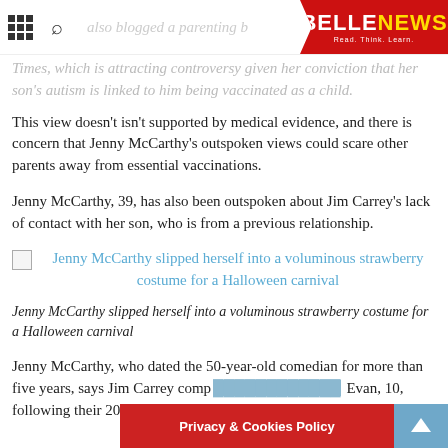BELLENEWS – Read. Think. Learn.
Times, which is attracting controversy given her conviction that her son's autism is linked to him being vaccinated as a child.
This view doesn't isn't supported by medical evidence, and there is concern that Jenny McCarthy's outspoken views could scare other parents away from essential vaccinations.
Jenny McCarthy, 39, has also been outspoken about Jim Carrey's lack of contact with her son, who is from a previous relationship.
[Figure (illustration): Broken image placeholder icon with link text: Jenny McCarthy slipped herself into a voluminous strawberry costume for a Halloween carnival]
Jenny McCarthy slipped herself into a voluminous strawberry costume for a Halloween carnival
Jenny McCarthy, who dated the 50-year-old comedian for more than five years, says Jim Carrey comp Evan, 10, following their 2010 split...
Privacy & Cookies Policy